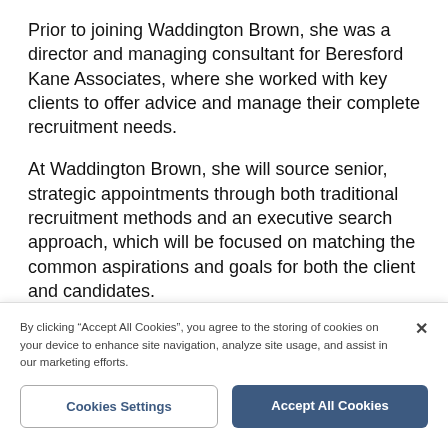Prior to joining Waddington Brown, she was a director and managing consultant for Beresford Kane Associates, where she worked with key clients to offer advice and manage their complete recruitment needs.
At Waddington Brown, she will source senior, strategic appointments through both traditional recruitment methods and an executive search approach, which will be focused on matching the common aspirations and goals for both the client and candidates.
“I started in recruitment back in 1989 and, to this day, I still get a real buzz from helping clients find someone
By clicking “Accept All Cookies”, you agree to the storing of cookies on your device to enhance site navigation, analyze site usage, and assist in our marketing efforts.
Cookies Settings
Accept All Cookies